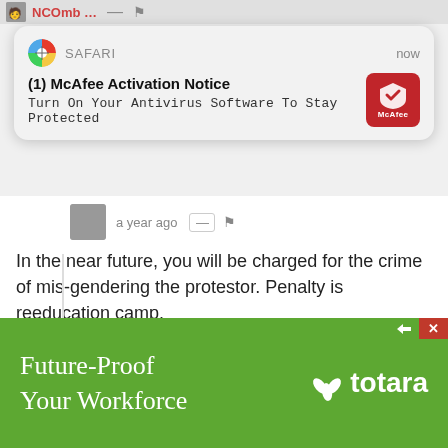[Figure (screenshot): Partial top bar showing avatar, NCOmb... text in red, and navigation icons]
[Figure (screenshot): Safari browser notification popup: '(1) McAfee Activation Notice' with subtitle 'Turn On Your Antivirus Software To Stay Protected' and McAfee red icon on right]
In the near future, you will be charged for the crime of mis-gendering the protestor. Penalty is reeducation camp.
SheerPolitics  a year ago edited
One good report: Report: UAE
[Figure (screenshot): Green advertisement banner: 'Future-Proof Your Workforce' with totara logo]